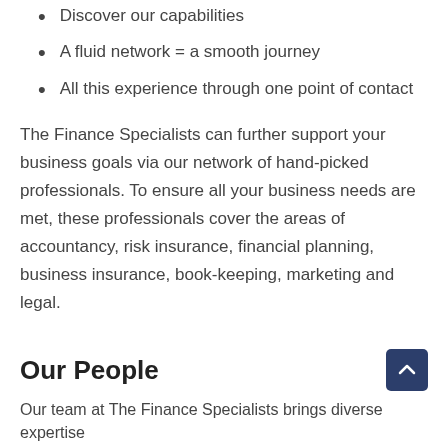Discover our capabilities
A fluid network = a smooth journey
All this experience through one point of contact
The Finance Specialists can further support your business goals via our network of hand-picked professionals. To ensure all your business needs are met, these professionals cover the areas of accountancy, risk insurance, financial planning, business insurance, book-keeping, marketing and legal.
Our People
Our team at The Finance Specialists brings diverse expertise